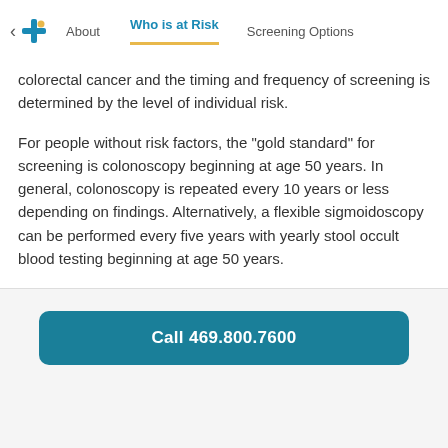About | Who is at Risk | Screening Options
colorectal cancer and the timing and frequency of screening is determined by the level of individual risk.
For people without risk factors, the "gold standard" for screening is colonoscopy beginning at age 50 years. In general, colonoscopy is repeated every 10 years or less depending on findings. Alternatively, a flexible sigmoidoscopy can be performed every five years with yearly stool occult blood testing beginning at age 50 years.
Call 469.800.7600